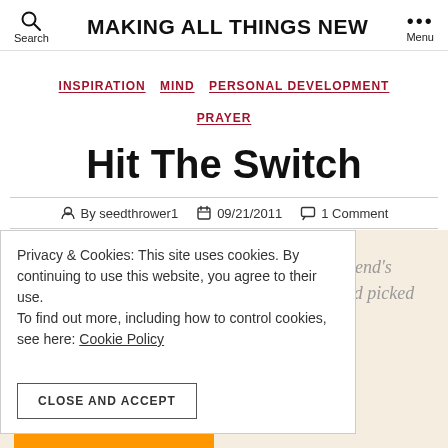MAKING ALL THINGS NEW
INSPIRATION  MIND  PERSONAL DEVELOPMENT  PRAYER
Hit The Switch
By seedthrower1  09/21/2011  1 Comment
Privacy & Cookies: This site uses cookies. By continuing to use this website, you agree to their use. To find out more, including how to control cookies, see here: Cookie Policy
CLOSE AND ACCEPT
I was visiting a friend's house recently, and picked up a book he had